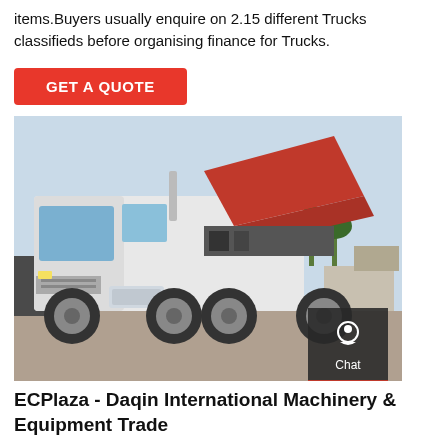items.Buyers usually enquire on 2.15 different Trucks classifieds before organising finance for Trucks.
[Figure (other): Red GET A QUOTE button]
[Figure (photo): A large white tractor truck (semi-truck) with its red hood open/tilted, parked in a yard. On the right side there is a dark sidebar with Chat, Email, and Contact icons.]
ECPlaza - Daqin International Machinery & Equipment Trade